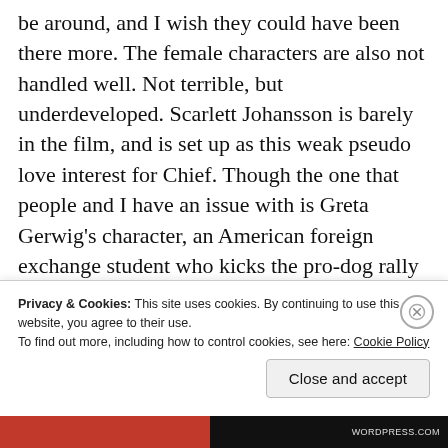be around, and I wish they could have been there more. The female characters are also not handled well. Not terrible, but underdeveloped. Scarlett Johansson is barely in the film, and is set up as this weak pseudo love interest for Chief. Though the one that people and I have an issue with is Greta Gerwig's character, an American foreign exchange student who kicks the pro-dog rally into overdrive. She's a strong character, and has her own personality, but I do think there is
Privacy & Cookies: This site uses cookies. By continuing to use this website, you agree to their use.
To find out more, including how to control cookies, see here: Cookie Policy
Close and accept